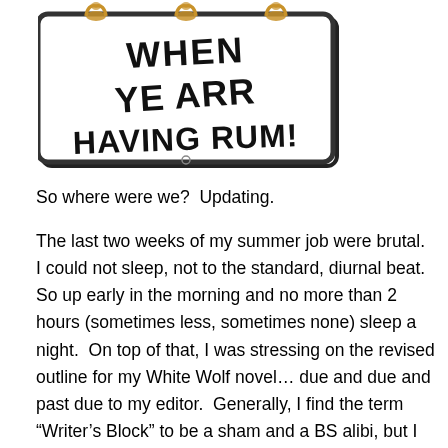[Figure (photo): A novelty sign with pirate-style lettering reading 'WHEN YE ARR HAVING RUM!' with decorative golden elements at the top, on a white rectangular sign with black border.]
So where were we?  Updating.
The last two weeks of my summer job were brutal.  I could not sleep, not to the standard, diurnal beat.  So up early in the morning and no more than 2 hours (sometimes less, sometimes none) sleep a night.  On top of that, I was stressing on the revised outline for my White Wolf novel… due and due and past due to my editor.  Generally, I find the term “Writer’s Block” to be a sham and a BS alibi, but I had nothing…felt pretty useless.